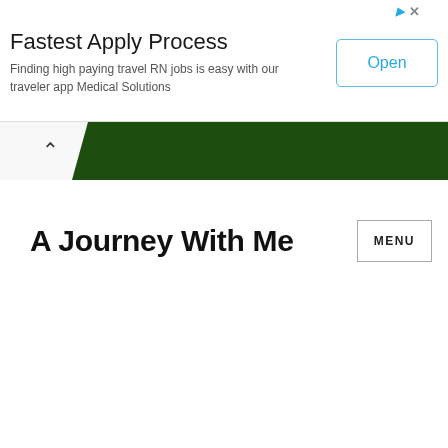[Figure (screenshot): Advertisement banner for Medical Solutions travel RN jobs app with 'Fastest Apply Process' headline, descriptive text, and Open button. Top-right shows ad indicator icons.]
[Figure (screenshot): Dark green navigation bar with a white tab/chevron on the left containing an up-arrow symbol.]
A Journey With Me
MENU